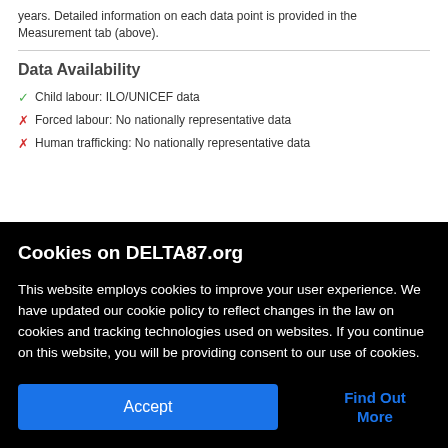years. Detailed information on each data point is provided in the Measurement tab (above).
Data Availability
Child labour: ILO/UNICEF data
Forced labour: No nationally representative data
Human trafficking: No nationally representative data
Cookies on DELTA87.org
This website employs cookies to improve your user experience. We have updated our cookie policy to reflect changes in the law on cookies and tracking technologies used on websites. If you continue on this website, you will be providing consent to our use of cookies.
Accept
Find Out More